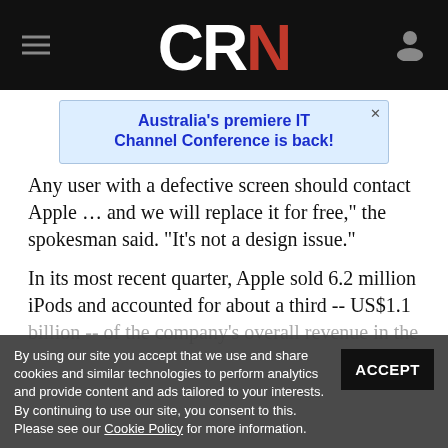CRN
[Figure (screenshot): CRN website advertisement banner: Australia's premiere IT Channel Conference is back!]
Any user with a defective screen should contact Apple … and we will replace it for free," the spokesman said. "It's not a design issue."
In its most recent quarter, Apple sold 6.2 million iPods and accounted for about a third -- US$1.1 billion -- of the company's overall revenue in the ...
By using our site you accept that we use and share cookies and similar technologies to perform analytics and provide content and ads tailored to your interests. By continuing to use our site, you consent to this. Please see our Cookie Policy for more information.